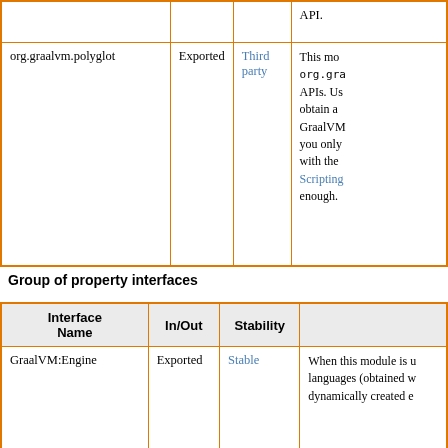| Interface Name | In/Out | Stability | Description |
| --- | --- | --- | --- |
| org.graalvm.polyglot | Exported | Third party | This mo org.gra APIs. Us obtain a GraalVM you only with the Scripting enough. |
Group of property interfaces
| Interface Name | In/Out | Stability | Description |
| --- | --- | --- | --- |
| GraalVM:Engine | Exported | Stable | When this module is u languages (obtained w dynamically created e |
|  |  |  | By default all the Gra occur sandbox. So... |